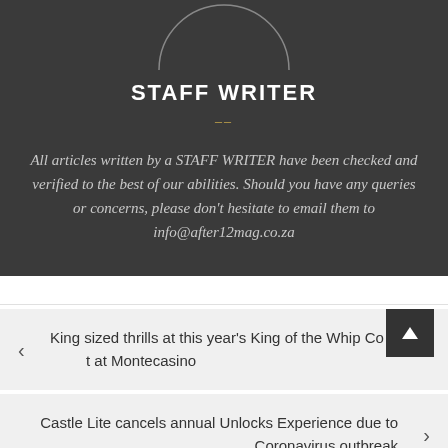[Figure (illustration): Circular avatar/profile picture placeholder shown as partial circle at top of dark background section]
STAFF WRITER
–—
All articles written by a STAFF WRITER have been checked and verified to the best of our abilities. Should you have any queries or concerns, please don't hesitate to email them to info@after12mag.co.za
King sized thrills at this year's King of the Whip Contest at Montecasino
Castle Lite cancels annual Unlocks Experience due to Coronavirus outbreak